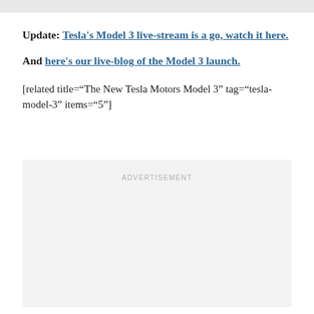Update: Tesla's Model 3 live-stream is a go, watch it here.
And here's our live-blog of the Model 3 launch.
[related title="The New Tesla Motors Model 3" tag="tesla-model-3" items="5"]
[Figure (other): Advertisement placeholder box with 'ADVERTISEMENT' label in light gray]